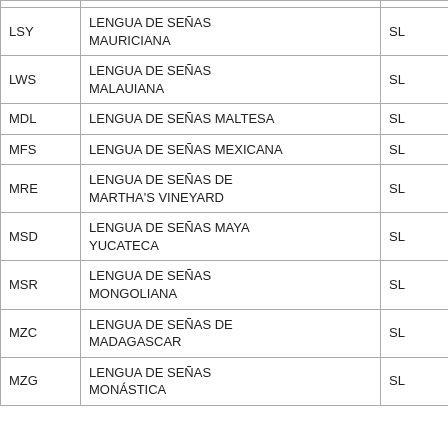| Code | Name | Type |
| --- | --- | --- |
| LSY | LENGUA DE SEÑAS MAURICIANA | SL |
| LWS | LENGUA DE SEÑAS MALAUIANA | SL |
| MDL | LENGUA DE SEÑAS MALTESA | SL |
| MFS | LENGUA DE SEÑAS MEXICANA | SL |
| MRE | LENGUA DE SEÑAS DE MARTHA'S VINEYARD | SL |
| MSD | LENGUA DE SEÑAS MAYA YUCATECA | SL |
| MSR | LENGUA DE SEÑAS MONGOLIANA | SL |
| MZC | LENGUA DE SEÑAS DE MADAGASCAR | SL |
| MZG | LENGUA DE SEÑAS MONÁSTICA | SL |